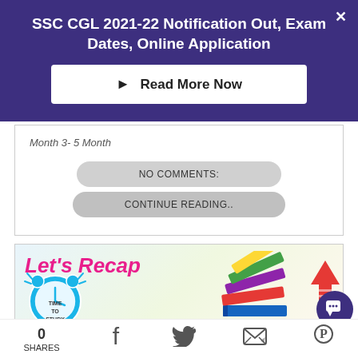SSC CGL 2021-22 Notification Out, Exam Dates, Online Application
Read More Now
Month 3- 5 Month
NO COMMENTS:
CONTINUE READING..
[Figure (illustration): Let's Recap promotional banner with clock showing TIME TO STUDY, stack of colorful books, Mahendra's branding, and upward red arrow]
0
SHARES